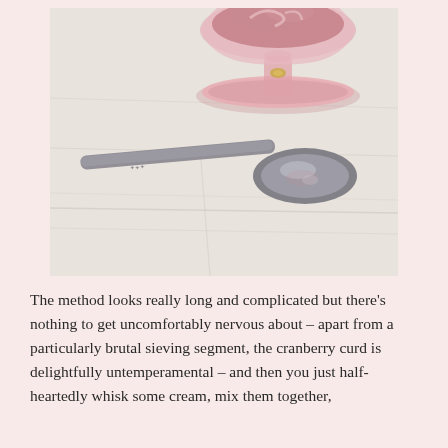[Figure (photo): A pink glass dessert cup filled with cranberry curd on a white linen tablecloth, with a silver spoon placed in front of it.]
The method looks really long and complicated but there's nothing to get uncomfortably nervous about – apart from a particularly brutal sieving segment, the cranberry curd is delightfully untemperamental – and then you just half-heartedly whisk some cream, mix them together,